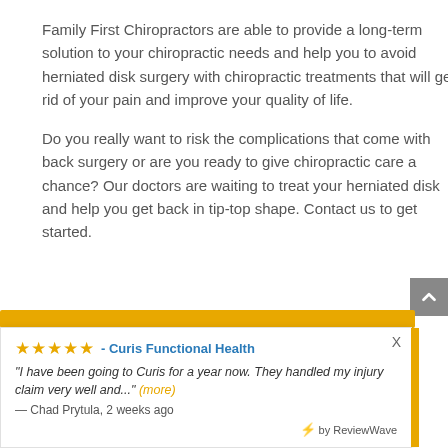Family First Chiropractors are able to provide a long-term solution to your chiropractic needs and help you to avoid herniated disk surgery with chiropractic treatments that will get rid of your pain and improve your quality of life.
Do you really want to risk the complications that come with back surgery or are you ready to give chiropractic care a chance? Our doctors are waiting to treat your herniated disk and help you get back in tip-top shape. Contact us to get started.
[Figure (other): Review widget showing 5-star rating from Curis Functional Health. Quote: 'I have been going to Curis for a year now. They handled my injury claim very well and...' (more). Reviewer: Chad Prytula, 2 weeks ago. Powered by ReviewWave.]